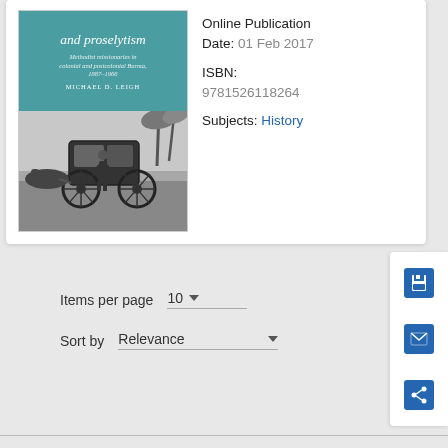[Figure (photo): Book cover showing title with italic text 'and proselytism', subtitle 'Methodist missionaries in colonial and postcolonial Burma, 1887–1966', author 'MICHAEL D. LEIGH', teal upper portion and black-and-white photograph of a horse-drawn carriage with a man standing beside it]
Online Publication Date: 01 Feb 2017
ISBN: 9781526118264
Subjects: History
Items per page  10
Sort by  Relevance